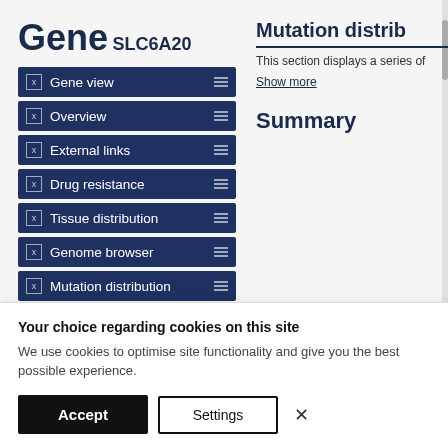Gene
SLC6A20
Gene view
Overview
External links
Drug resistance
Tissue distribution
Genome browser
Mutation distribution
Mutation distrib
This section displays a series of
Show more
Summary
Your choice regarding cookies on this site
We use cookies to optimise site functionality and give you the best possible experience.
Accept
Settings